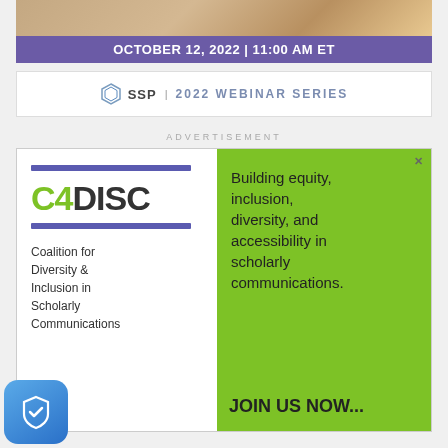[Figure (photo): Wooden blocks background image at top of banner]
OCTOBER 12, 2022 | 11:00 AM ET
[Figure (logo): SSP | 2022 WEBINAR SERIES logo with SSP shield icon]
ADVERTISEMENT
[Figure (illustration): C4DISC advertisement: Coalition for Diversity & Inclusion in Scholarly Communications. Left panel with C4DISC logo, right green panel with text 'Building equity, inclusion, diversity, and accessibility in scholarly communications.' and 'JOIN US NOW...']